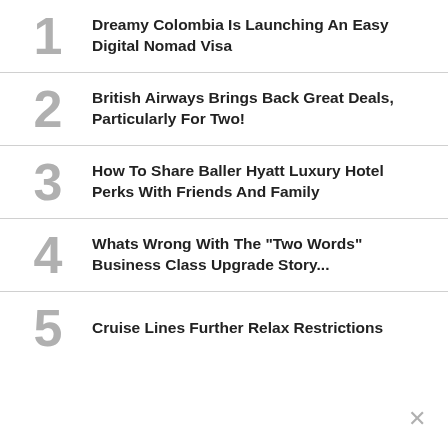1 Dreamy Colombia Is Launching An Easy Digital Nomad Visa
2 British Airways Brings Back Great Deals, Particularly For Two!
3 How To Share Baller Hyatt Luxury Hotel Perks With Friends And Family
4 Whats Wrong With The "Two Words" Business Class Upgrade Story...
5 Cruise Lines Further Relax Restrictions